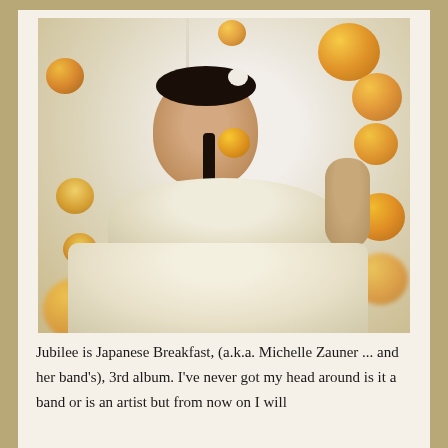[Figure (photo): A woman (Michelle Zauner / Japanese Breakfast) in a light yellow dress holding a persimmon fruit up to her eye, surrounded by floating persimmon fruits, with tattoos visible on her arms and shoulders. Black and white background with warm orange-yellow fruit tones.]
Jubilee is Japanese Breakfast, (a.k.a. Michelle Zauner ... and her band's), 3rd album. I've never got my head around is it a band or is an artist but from now on I will